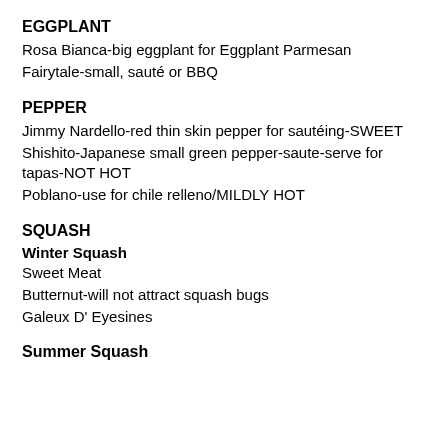EGGPLANT
Rosa Bianca-big eggplant for Eggplant Parmesan
Fairytale-small, sauté or BBQ
PEPPER
Jimmy Nardello-red thin skin pepper for sautéing-SWEET
Shishito-Japanese small green pepper-saute-serve for tapas-NOT HOT
Poblano-use for chile relleno/MILDLY HOT
SQUASH
Winter Squash
Sweet Meat
Butternut-will not attract squash bugs
Galeux D' Eyesines
Summer Squash